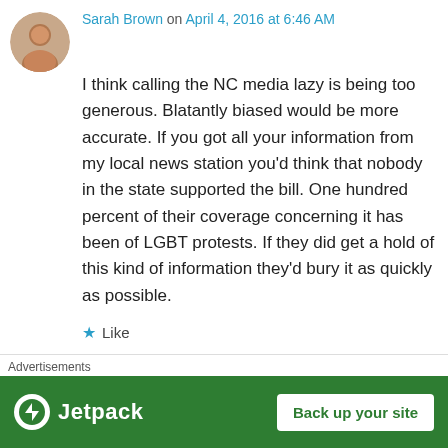Sarah Brown on April 4, 2016 at 6:46 AM
I think calling the NC media lazy is being too generous. Blatantly biased would be more accurate. If you got all your information from my local news station you'd think that nobody in the state supported the bill. One hundred percent of their coverage concerning it has been of LGBT protests. If they did get a hold of this kind of information they'd bury it as quickly as possible.
Like
h2s on April 4, 2016 at 12:01 AM
Advertisements
[Figure (infographic): Jetpack advertisement banner with green background, Jetpack logo on the left and 'Back up your site' button on the right]